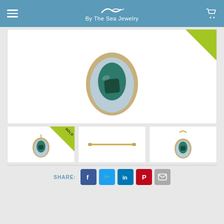By The Sea Jewelry
[Figure (photo): Close-up of a sea glass pendant in a teardrop gold setting with teal/dark green sea glass, showing back detail. Sold corner banner visible.]
[Figure (photo): Thumbnail of pendant with SOLD ribbon banner]
[Figure (photo): Thumbnail of gold chain]
[Figure (photo): Thumbnail of pendant from front]
SHARE: